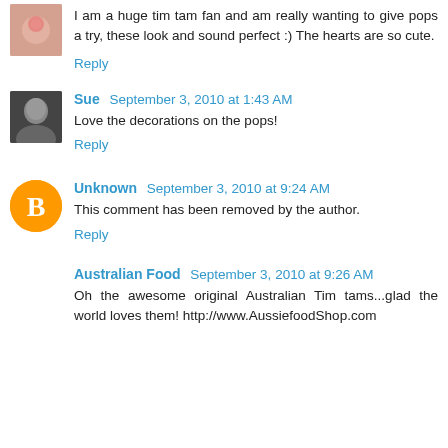[Figure (photo): Small avatar thumbnail of a pink cupcake or flower]
I am a huge tim tam fan and am really wanting to give pops a try, these look and sound perfect :) The hearts are so cute.
Reply
[Figure (photo): Small avatar photo of a woman with dark hair]
Sue  September 3, 2010 at 1:43 AM
Love the decorations on the pops!
Reply
[Figure (logo): Blogger orange circle icon with letter B]
Unknown  September 3, 2010 at 9:24 AM
This comment has been removed by the author.
Reply
Australian Food  September 3, 2010 at 9:26 AM
Oh the awesome original Australian Tim tams...glad the world loves them! http://www.AussiefoodShop.com